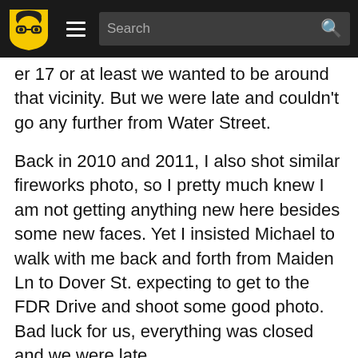Search
er 17 or at least we wanted to be around that vicinity. But we were late and couldn't go any further from Water Street.
Back in 2010 and 2011, I also shot similar fireworks photo, so I pretty much knew I am not getting anything new here besides some new faces. Yet I insisted Michael to walk with me back and forth from Maiden Ln to Dover St. expecting to get to the FDR Drive and shoot some good photo. Bad luck for us, everything was closed and we were late.
Hopelessly we came back to Maiden Ln but by the time we came back there were too many people to setup my tripod even. When the fireworks started, we realized we are screwed and the view of fireworks is